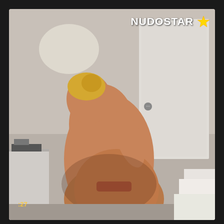[Figure (photo): Screenshot of a video showing a person in a bedroom setting with a NUDOSTAR watermark and timestamp 27 in the lower left corner]
NUDOSTAR⭐
:27